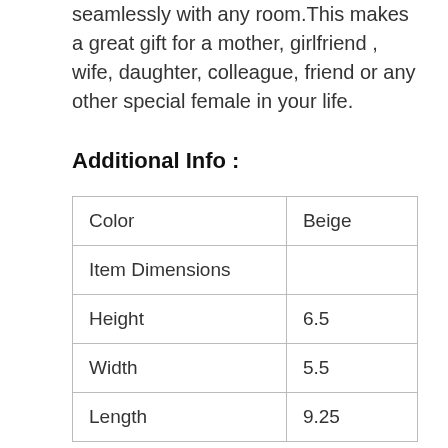seamlessly with any room.This makes a great gift for a mother, girlfriend , wife, daughter, colleague, friend or any other special female in your life.
Additional Info :
| Color | Beige |
| Item Dimensions |  |
| Height | 6.5 |
| Width | 5.5 |
| Length | 9.25 |